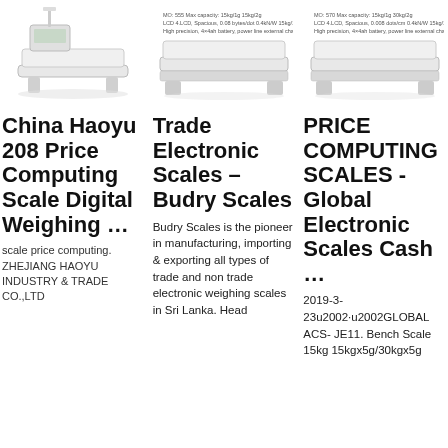[Figure (photo): Photo of China Haoyu 208 price computing scale - a digital weighing scale with flat platform]
China Haoyu 208 Price Computing Scale Digital Weighing …
scale price computing. ZHEJIANG HAOYU INDUSTRY & TRADE CO.,LTD
[Figure (photo): Photo and spec sheet of Trade Electronic Scales by Budry Scales]
Trade Electronic Scales – Budry Scales
Budry Scales is the pioneer in manufacturing, importing & exporting all types of trade and non trade electronic weighing scales in Sri Lanka. Head
[Figure (photo): Photo and spec sheet of Price Computing Scales - Global Electronic Scales]
PRICE COMPUTING SCALES - Global Electronic Scales Cash …
2019-3-23u2002·u2002GLOBAL ACS- JE11. Bench Scale 15kg 15kgx5g/30kgx5g